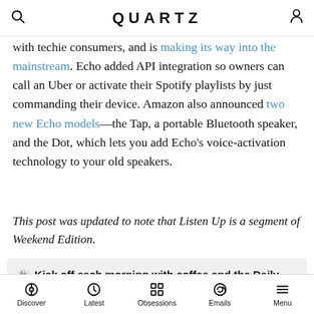QUARTZ
with techie consumers, and is making its way into the mainstream. Echo added API integration so owners can call an Uber or activate their Spotify playlists by just commanding their device. Amazon also announced two new Echo models—the Tap, a portable Bluetooth speaker, and the Dot, which lets you add Echo's voice-activation technology to your old speakers.
This post was updated to note that Listen Up is a segment of Weekend Edition.
👻 Kick off each morning with coffee and the Daily Brief (BYO coffee).
Discover  Latest  Obsessions  Emails  Menu